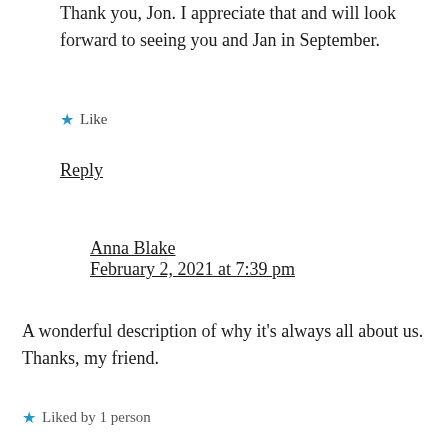Thank you, Jon. I appreciate that and will look forward to seeing you and Jan in September.
★ Like
Reply
Anna Blake
February 2, 2021 at 7:39 pm
A wonderful description of why it's always all about us. Thanks, my friend.
★ Liked by 1 person